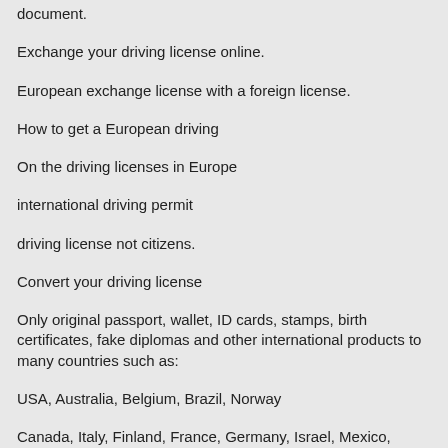document.
Exchange your driving license online.
European exchange license with a foreign license.
How to get a European driving
On the driving licenses in Europe
international driving permit
driving license not citizens.
Convert your driving license
Only original passport, wallet, ID cards, stamps, birth certificates, fake diplomas and other international products to many countries such as:
USA, Australia, Belgium, Brazil, Norway
Canada, Italy, Finland, France, Germany, Israel, Mexico, Netherlands, South Africa, Spain, United Kingdom.
This is not a complete list.
For additional information and place the order only
Contact us by email. This is important for such operations.
Get passports British (UK), Danmark (Denmark) American passport, Canadian.